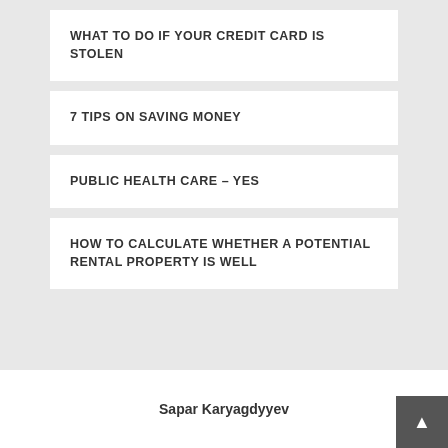WHAT TO DO IF YOUR CREDIT CARD IS STOLEN
7 TIPS ON SAVING MONEY
PUBLIC HEALTH CARE – YES
HOW TO CALCULATE WHETHER A POTENTIAL RENTAL PROPERTY IS WELL
Sapar Karyagdyyev